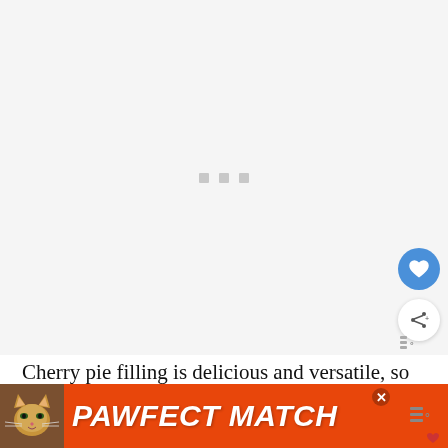[Figure (photo): Light gray loading placeholder area with three small gray square dots in the center indicating an image is loading. Blue heart/favorite button and white share button on the right side. Tasty logo at bottom right of image area.]
Cherry pie filling is delicious and versatile, so
[Figure (photo): Orange advertisement banner at the bottom showing a tabby cat on the left, bold italic white text reading 'PAWFECT MATCH', an X close button, a small heart icon, and a Tasty logo on the right.]